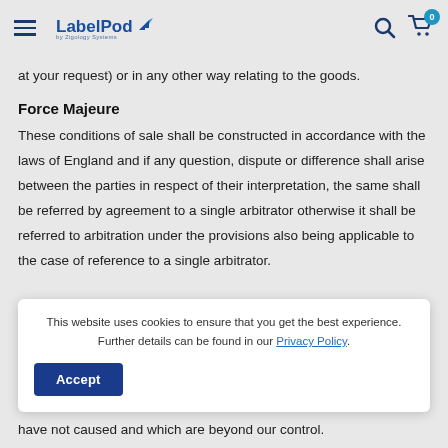LabelPod by Zigology Systems
at your request) or in any other way relating to the goods.
Force Majeure
These conditions of sale shall be constructed in accordance with the laws of England and if any question, dispute or difference shall arise between the parties in respect of their interpretation, the same shall be referred by agreement to a single arbitrator otherwise it shall be referred to arbitration under the provisions also being applicable to the case of reference to a single arbitrator.
This website uses cookies to ensure that you get the best experience. Further details can be found in our Privacy Policy.
have not caused and which are beyond our control.